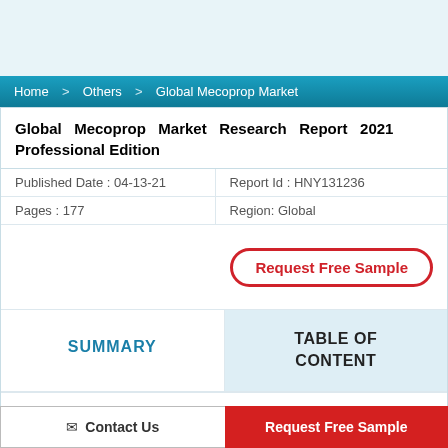Home > Others > Global Mecoprop Market
Global Mecoprop Market Research Report 2021 Professional Edition
| Published Date : 04-13-21 | Report Id : HNY131236 |
| Pages : 177 | Region: Global |
Request Free Sample
SUMMARY
TABLE OF CONTENT
Contact Us
Request Free Sample